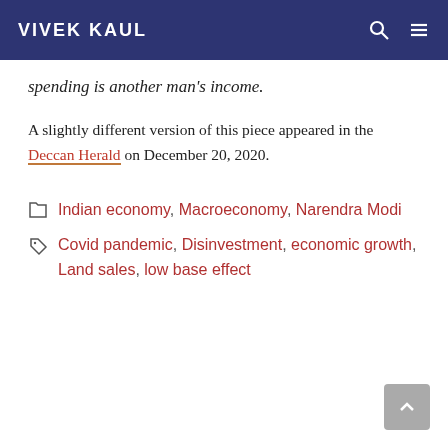VIVEK KAUL
spending is another man's income.
A slightly different version of this piece appeared in the Deccan Herald on December 20, 2020.
Indian economy, Macroeconomy, Narendra Modi
Covid pandemic, Disinvestment, economic growth, Land sales, low base effect